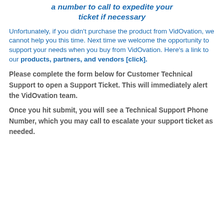a number to call to expedite your ticket if necessary
Unfortunately, if you didn't purchase the product from VidOvation, we cannot help you this time. Next time we welcome the opportunity to support your needs when you buy from VidOvation. Here's a link to our products, partners, and vendors [click].
Please complete the form below for Customer Technical Support to open a Support Ticket. This will immediately alert the VidOvation team.
Once you hit submit, you will see a Technical Support Phone Number, which you may call to escalate your support ticket as needed.